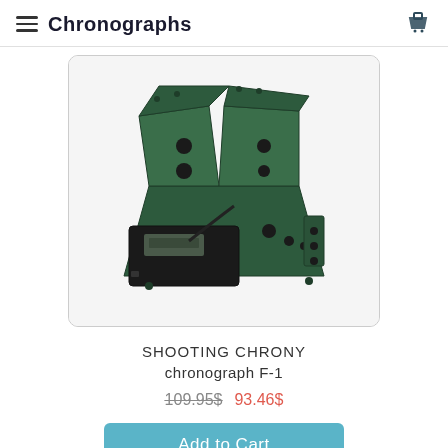≡ Chronographs
[Figure (photo): A green metal SHOOTING CHRONY F-1 chronograph device, photographed at an angle showing its folded sensor arms and digital display unit at the bottom.]
SHOOTING CHRONY chronograph F-1
109.95$ 93.46$
Add to Cart